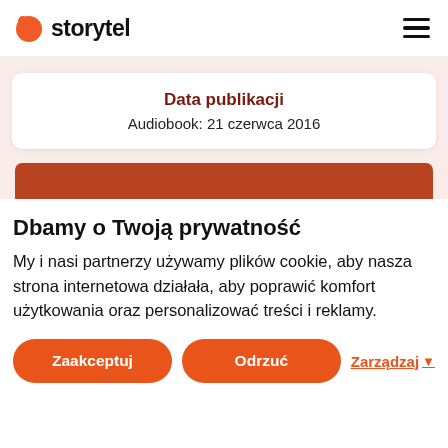storytel
Data publikacji
Audiobook: 21 czerwca 2016
Dbamy o Twoją prywatność
My i nasi partnerzy używamy plików cookie, aby nasza strona internetowa działała, aby poprawić komfort użytkowania oraz personalizować treści i reklamy.
Zaakceptuj | Odrzuć | Zarządzaj